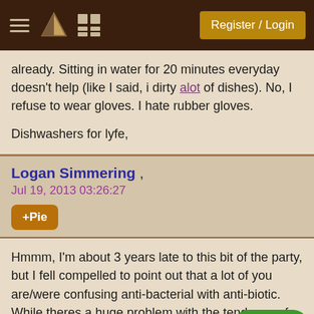Register / Login
already. Sitting in water for 20 minutes everyday doesn't help (like I said, i dirty alot of dishes). No, I refuse to wear gloves. I hate rubber gloves.

Dishwashers for lyfe,
Logan Simmering , Jul 19, 2013 03:26:27
+Pie
Hmmm, I'm about 3 years late to this bit of the party, but I fell compelled to point out that a lot of you are/were confusing anti-bacterial with anti-biotic. While theres a huge problem with the tendency of industrial farmers to drown animals in anti_biotics (and to a lesser extent over prescription in people) forcing evolution of bacteria toward resistance to things like penicillia cannot be said of anti-bacterial soap leading to a resistince to rubbing alchohol. so, while its probably a